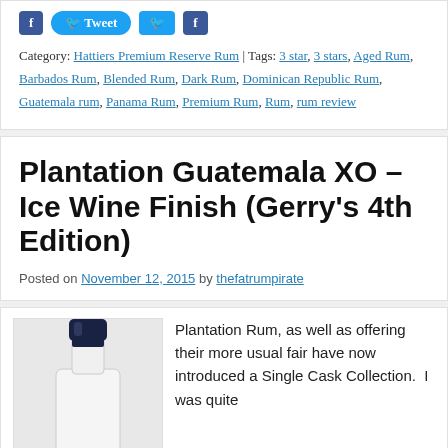Category: Hattiers Premium Reserve Rum | Tags: 3 star, 3 stars, Aged Rum, Barbados Rum, Blended Rum, Dark Rum, Dominican Republic Rum, Guatemala rum, Panama Rum, Premium Rum, Rum, rum review
Plantation Guatemala XO – Ice Wine Finish (Gerry's 4th Edition)
Posted on November 12, 2015 by thefatrumpirate
[Figure (photo): Top of a rum bottle with dark blue/navy wax or capsule seal, white bottle body, light grey background]
Plantation Rum, as well as offering their more usual fair have now introduced a Single Cask Collection. I was quite